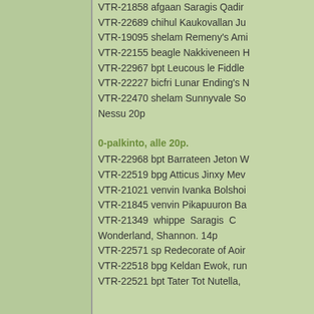VTR-21858 afgaan Saragis Qadir
VTR-22689 chihul Kaukovallan Ju
VTR-19095 shelam Remeny's Ami
VTR-22155 beagle Nakkiveneen H
VTR-22967 bpt Leucous le Fiddle
VTR-22227 bicfri Lunar Ending's N
VTR-22470 shelam Sunnyvale So
Nessu 20p
0-palkinto, alle 20p.
VTR-22968 bpt Barrateen Jeton W
VTR-22519 bpg Atticus Jinxy Mev
VTR-21021 venvin Ivanka Bolshoi
VTR-21845 venvin Pikapuuron Ba
VTR-21349 whippe Saragis Wonderland, Shannon. 14p
VTR-22571 sp Redecorate of Aoin
VTR-22518 bpg Keldan Ewok, run
VTR-22521 bpt Tater Tot Nutella,